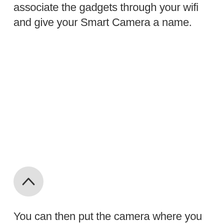associate the gadgets through your wifi and give your Smart Camera a name.
[Figure (illustration): A circular grey button with an upward-pointing chevron (caret) arrow icon in the center.]
You can then put the camera where you